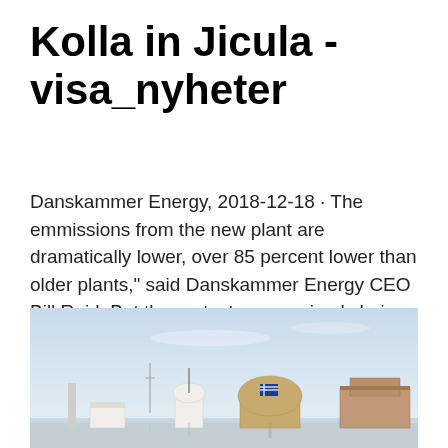Kolla in Jicula - visa_nyheter
Danskammer Energy, 2018-12-18 · The emmissions from the new plant are dramatically lower, over 85 percent lower than older plants," said Danskammer Energy CEO Bill Reid. But the protesters say simply being greener than older plants is not enough.
[Figure (photo): Coastal scene with white windmills, a building with a Greek flag, and waterfront structures under a light blue sky.]